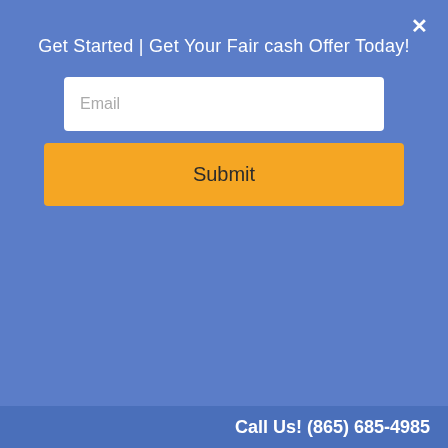Get Started | Get Your Fair cash Offer Today!
Email
Submit
[Figure (logo): Tennessee Property-Buyers logo with house and cash illustration, URL: www.tnpropertyliquidators.com]
Menu ▾
Foreclosure Effects In
Call Us! (865) 685-4985